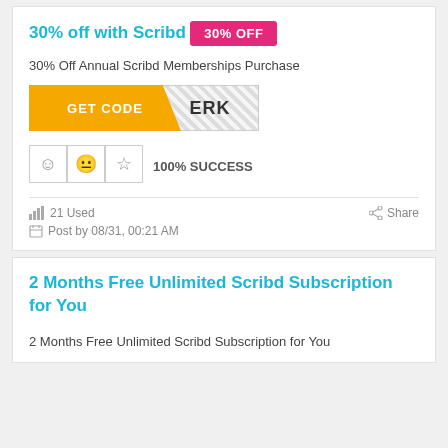30% off with Scribd
30% OFF
30% Off Annual Scribd Memberships Purchase
[Figure (other): GET CODE button with ERK code reveal area]
100% SUCCESS
21 Used
Share
Post by 08/31, 00:21 AM
2 Months Free Unlimited Scribd Subscription for You
2 Months Free Unlimited Scribd Subscription for You